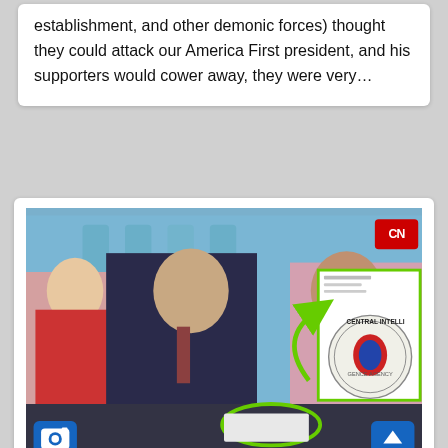establishment, and other demonic forces) thought they could attack our America First president, and his supporters would cower away, they were very…
[Figure (photo): Photo of CNN anchors/reporters at a news desk, with a CNN logo in the upper right corner, and an overlaid image of the CIA seal with a green arrow and green oval circle annotation highlighting something on the desk.]